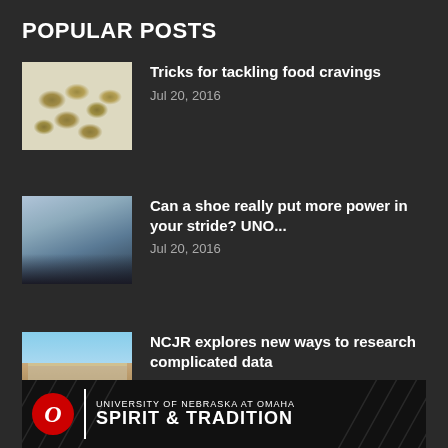POPULAR POSTS
Tricks for tackling food cravings
Jul 20, 2016
Can a shoe really put more power in your stride? UNO...
Jul 20, 2016
NCJR explores new ways to research complicated data
Jul 19, 2016
[Figure (logo): University of Nebraska at Omaha — Spirit & Tradition banner with UNO logo]